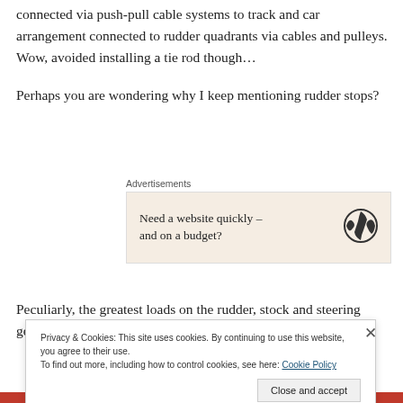connected via push-pull cable systems to track and car arrangement connected to rudder quadrants via cables and pulleys.  Wow, avoided installing a tie rod though…
Perhaps you are wondering why I keep mentioning rudder stops?
[Figure (other): Advertisement block with label 'Advertisements' and a beige-background ad reading 'Need a website quickly – and on a budget?' with WordPress logo]
Peculiarly, the greatest loads on the rudder, stock and steering gear are experienced when going astern.
Privacy & Cookies: This site uses cookies. By continuing to use this website, you agree to their use.
To find out more, including how to control cookies, see here: Cookie Policy